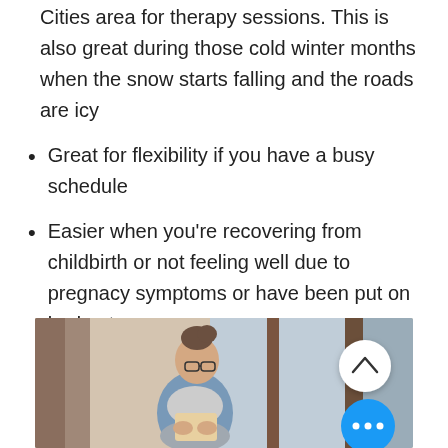Cities area for therapy sessions. This is also great during those cold winter months when the snow starts falling and the roads are icy
Great for flexibility if you have a busy schedule
Easier when you're recovering from childbirth or not feeling well due to pregnacy symptoms or have been put on bedrest.
[Figure (photo): A woman with glasses and her hair up, wearing a blue cardigan, sitting by a window reading or using a phone/tablet. Two UI buttons overlay the image: a white circular scroll-up button and a blue circular more-options button with three dots.]